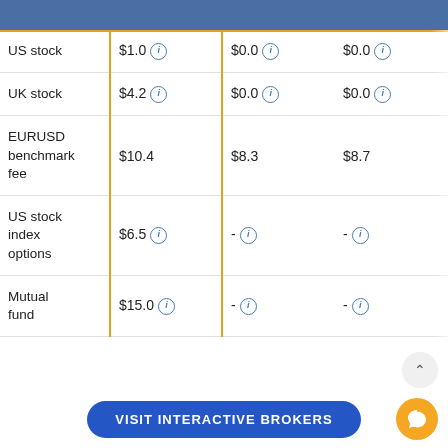|  | Col1 | Col2 | Col3 |
| --- | --- | --- | --- |
| US stock | $1.0 ⓘ | $0.0 ⓘ | $0.0 ⓘ |
| UK stock | $4.2 ⓘ | $0.0 ⓘ | $0.0 ⓘ |
| EURUSD benchmark fee | $10.4 | $8.3 | $8.7 |
| US stock index options | $6.5 ⓘ | - ⓘ | - ⓘ |
| Mutual fund | $15.0 ⓘ | - ⓘ | - ⓘ |
VISIT INTERACTIVE BROKERS